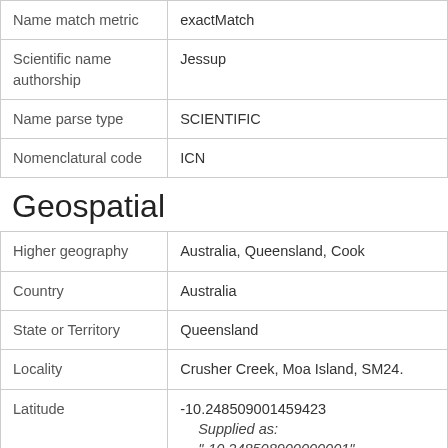| Name match metric | exactMatch |
| Scientific name authorship | Jessup |
| Name parse type | SCIENTIFIC |
| Nomenclatural code | ICN |
Geospatial
| Higher geography | Australia, Queensland, Cook |
| Country | Australia |
| State or Territory | Queensland |
| Locality | Crusher Creek, Moa Island, SM24. |
| Latitude | -10.248509001459423
Supplied as: "-10.248508900000001" |
| Longitude | 142.251117
Supplied as: "142.2511168" |
| Datum | EPSG:4326 |